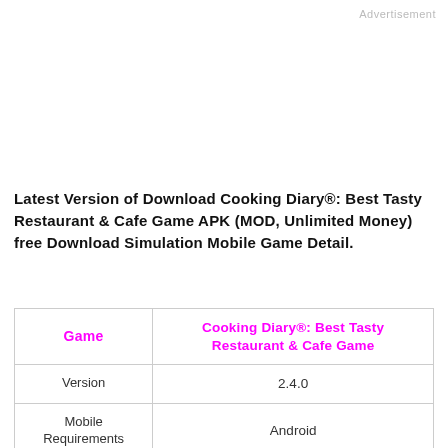Advertisement
Latest Version of Download Cooking Diary®: Best Tasty Restaurant & Cafe Game APK (MOD, Unlimited Money) free Download Simulation Mobile Game Detail.
| Game | Cooking Diary®: Best Tasty Restaurant & Cafe Game |
| --- | --- |
| Version | 2.4.0 |
| Mobile Requirements | Android |
| Category | Simulation |
| Rating | 6.0 |